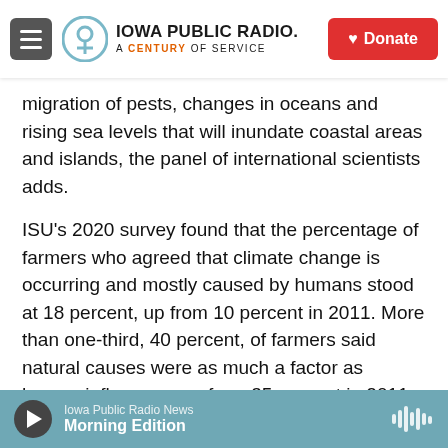Iowa Public Radio. A Century of Service. Donate
migration of pests, changes in oceans and rising sea levels that will inundate coastal areas and islands, the panel of international scientists adds.
ISU’s 2020 survey found that the percentage of farmers who agreed that climate change is occurring and mostly caused by humans stood at 18 percent, up from 10 percent in 2011. More than one-third, 40 percent, of farmers said natural causes were as much a factor as human influences, up from 35 percent in 2011.
A central part of the debate in Iowa has been the
Iowa Public Radio News
Morning Edition